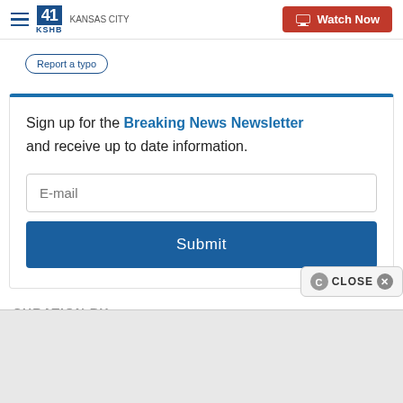41 KSHB Kansas City | Watch Now
Report a typo
Sign up for the Breaking News Newsletter and receive up to date information.
E-mail
Submit
CURATION BY
CLOSE